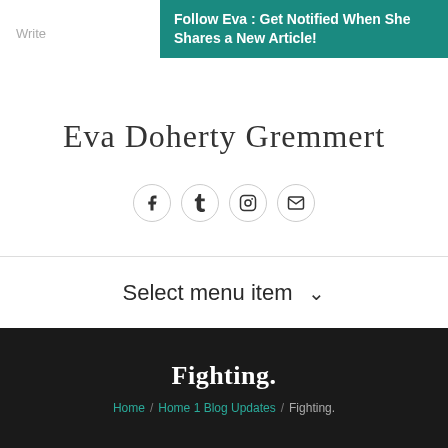Write
Follow Eva : Get Notified When She Shares a New Article!
Eva Doherty Gremmert
[Figure (illustration): Row of four social media icons (Facebook, Tumblr, Instagram, Email) in circular borders]
Select menu item
Fighting.
Home / Home 1 Blog Updates / Fighting.